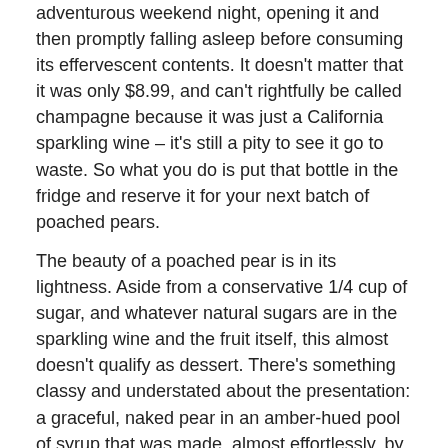adventurous weekend night, opening it and then promptly falling asleep before consuming its effervescent contents. It doesn't matter that it was only $8.99, and can't rightfully be called champagne because it was just a California sparkling wine – it's still a pity to see it go to waste. So what you do is put that bottle in the fridge and reserve it for your next batch of poached pears.
The beauty of a poached pear is in its lightness. Aside from a conservative 1/4 cup of sugar, and whatever natural sugars are in the sparkling wine and the fruit itself, this almost doesn't qualify as dessert. There's something classy and understated about the presentation: a graceful, naked pear in an amber-hued pool of syrup that was made, almost effortlessly, by reducing the poaching liquid. Does dessert get much simpler?
CHAMPAGNE POACHED PEARS
Serves 4
4 firm, medium-sized pears, such as Bosc
1 750 ml bottle dry sparkling wine
2 cups water